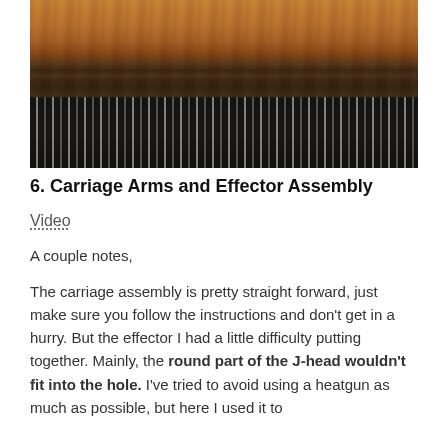[Figure (photo): Close-up photo of a wooden surface (brown wood grain) above a row of gold/metal pins on a dark connector strip, likely a 3D printer carriage component.]
6. Carriage Arms and Effector Assembly
Video
A couple notes,
The carriage assembly is pretty straight forward, just make sure you follow the instructions and don't get in a hurry. But the effector I had a little difficulty putting together. Mainly, the round part of the J-head wouldn't fit into the hole. I've tried to avoid using a heatgun as much as possible, but here I used it to